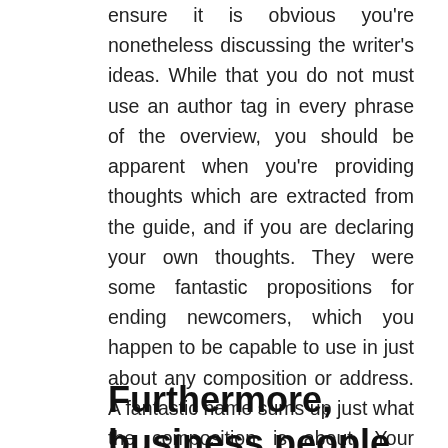ensure it is obvious you're nonetheless discussing the writer's ideas. While that you do not must use an author tag in every phrase of the overview, you should be apparent when you're providing thoughts which are extracted from the guide, and if you are declaring your own thoughts. They were some fantastic propositions for ending newcomers, which you happen to be capable to use in just about any composition or address. A fantastic name sums up just what the composition is about. Your satirical article will make extra brownie points with a suitable title.
Furthermore, business people can